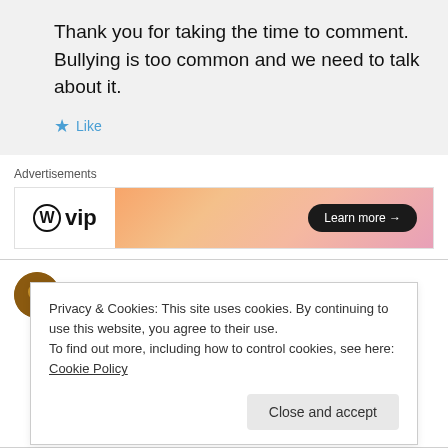Thank you for taking the time to comment. Bullying is too common and we need to talk about it.
★ Like
Advertisements
[Figure (other): WordPress VIP advertisement banner with gradient background and Learn more button]
arganesh3 on April 19, 2012 at 4:04 am
Privacy & Cookies: This site uses cookies. By continuing to use this website, you agree to their use.
To find out more, including how to control cookies, see here: Cookie Policy
Close and accept